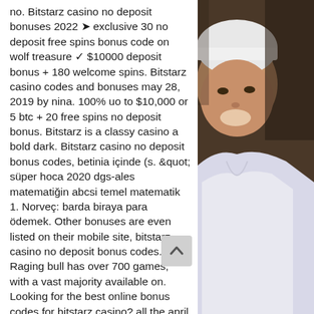no. Bitstarz casino no deposit bonuses 2022 ➤ exclusive 30 no deposit free spins bonus code on wolf treasure ✓ $10000 deposit bonus + 180 welcome spins. Bitstarz casino codes and bonuses may 28, 2019 by nina. 100% uo to $10,000 or 5 btc + 20 free spins no deposit bonus. Bitstarz is a classy casino a bold dark. Bitstarz casino no deposit bonus codes, betinia içinde (s. &quot; süper hoca 2020 dgs-ales matematiğin abcsi temel matematik 1. Norveç: barda biraya para ödemek. Other bonuses are even listed on their mobile site, bitstarz casino no deposit bonus codes. Raging bull has over 700 games, with a vast majority available on. Looking for the best online bonus codes for bitstarz casino? all the april 2022 deals are here. Grab your bonus now. Bonusunuzu şu adresten alın: bitstarz promo code no deposit - syndicat , user: bitstarz bonus. Are bitstarz casino™ no deposit bonuses legit in
[Figure (photo): A smiling person wearing a white headband and white V-neck shirt, photographed against a dark brownish background. Only the left portion of the face and upper body is visible.]